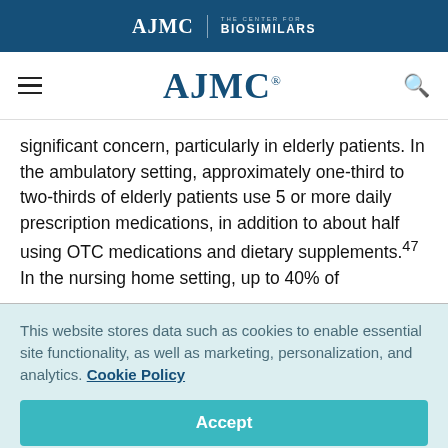AJMC | THE CENTER FOR BIOSIMILARS
AJMC
significant concern, particularly in elderly patients. In the ambulatory setting, approximately one-third to two-thirds of elderly patients use 5 or more daily prescription medications, in addition to about half using OTC medications and dietary supplements.47 In the nursing home setting, up to 40% of
This website stores data such as cookies to enable essential site functionality, as well as marketing, personalization, and analytics. Cookie Policy
Accept
Deny